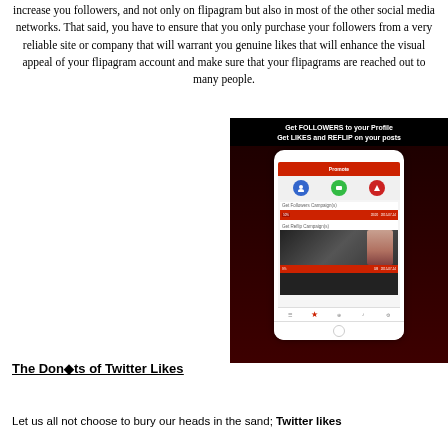increase you followers, and not only on flipagram but also in most of the other social media networks. That said, you have to ensure that you only purchase your followers from a very reliable site or company that will warrant you genuine likes that will enhance the visual appeal of your flipagram account and make sure that your flipagrams are reached out to many people.
[Figure (screenshot): Screenshot of a Flipagram app promotion screen showing 'Get FOLLOWERS to your Profile Get LIKES and REFLIP on your posts' with a smartphone displaying a Promote interface with follower and reflip campaign sections.]
The Don�ts of Twitter Likes
Let us all not choose to bury our heads in the sand; Twitter likes